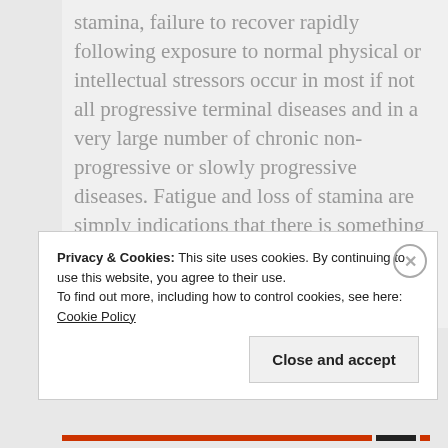stamina, failure to recover rapidly following exposure to normal physical or intellectual stressors occur in most if not all progressive terminal diseases and in a very large number of chronic non-progressive or slowly progressive diseases. Fatigue and loss of stamina are simply indications that there is something wrong. They cannot be seriously measured, are generally subjective and do not assist us with the diagnosis of M.E. or CFS or for that matter any disease process."
Privacy & Cookies: This site uses cookies. By continuing to use this website, you agree to their use. To find out more, including how to control cookies, see here: Cookie Policy